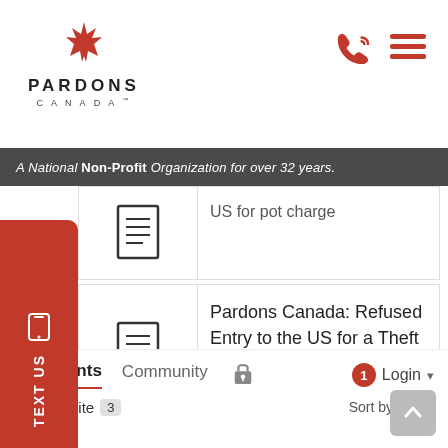Pardons Canada
A National Non-Profit Organization for over 32 years.
US for pot charge
Pardons Canada: Refused Entry to the US for a Theft Offence.
Comments  Community
Favorite 3  Sort by Best